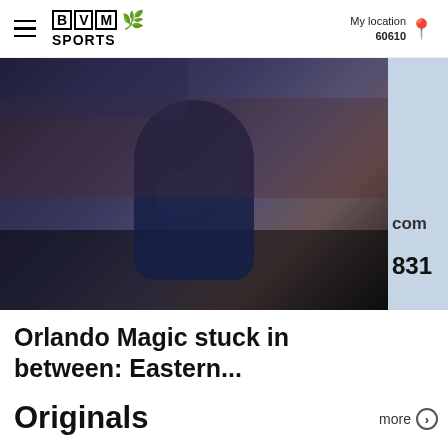BVM SPORTS | My location 60610
[Figure (photo): Basketball coach in navy sweater clapping hands on sideline with crowd in background]
[Figure (photo): Partial right card showing '.com' and '831' text on blue/grey background]
Orlando Magic stuck in between: Eastern...
Joe W... Two-...
Originals
more >